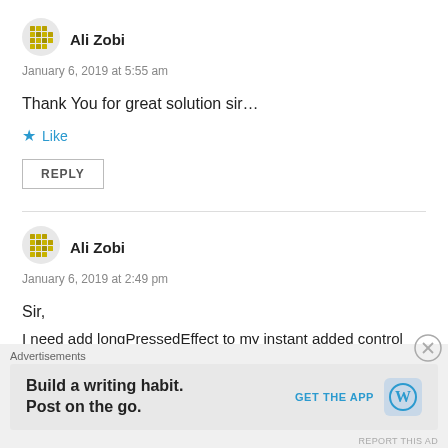[Figure (illustration): Avatar icon for Ali Zobi - yellow/green pixel grid circle avatar]
Ali Zobi
January 6, 2019 at 5:55 am
Thank You for great solution sir…
Like
REPLY
[Figure (illustration): Avatar icon for Ali Zobi - yellow/green pixel grid circle avatar]
Ali Zobi
January 6, 2019 at 2:49 pm
Sir,
I need add longPressedEffect to my instant added control
Advertisements
Build a writing habit.
Post on the go.
GET THE APP